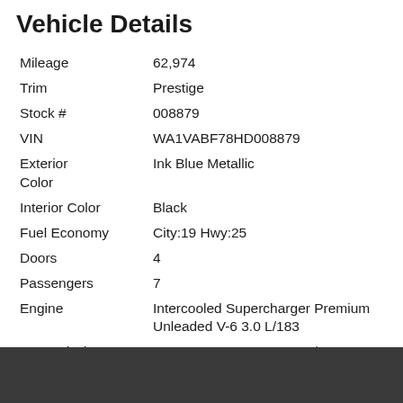Vehicle Details
| Field | Value |
| --- | --- |
| Mileage | 62,974 |
| Trim | Prestige |
| Stock # | 008879 |
| VIN | WA1VABF78HD008879 |
| Exterior Color | Ink Blue Metallic |
| Interior Color | Black |
| Fuel Economy | City:19 Hwy:25 |
| Doors | 4 |
| Passengers | 7 |
| Engine | Intercooled Supercharger Premium Unleaded V-6 3.0 L/183 |
| Transmission | 8-SPEED AUTOMATIC W/OD |
| Drivetrain | AWD |